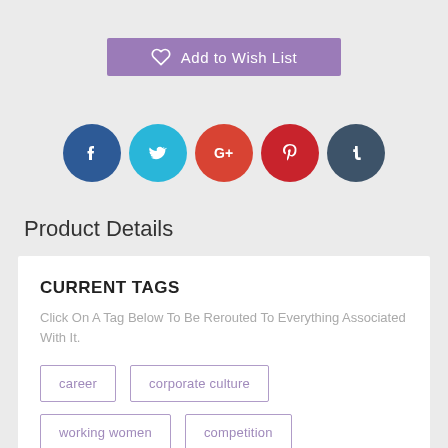[Figure (other): Purple 'Add to Wish List' button with heart icon]
[Figure (other): Row of five social media icon circles: Facebook (dark blue), Twitter (cyan), Google+ (red-orange), Pinterest (red), Tumblr (dark slate)]
Product Details
CURRENT TAGS
Click On A Tag Below To Be Rerouted To Everything Associated With It.
career
corporate culture
working women
competition